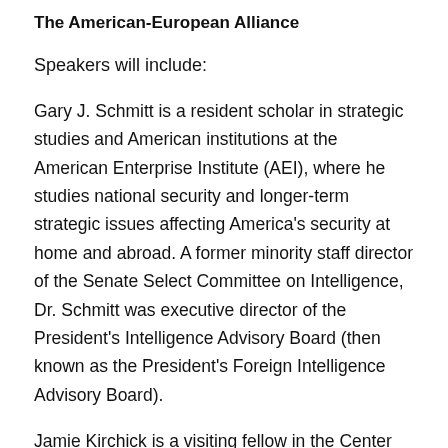The American-European Alliance
Speakers will include:
Gary J. Schmitt is a resident scholar in strategic studies and American institutions at the American Enterprise Institute (AEI), where he studies national security and longer-term strategic issues affecting America's security at home and abroad. A former minority staff director of the Senate Select Committee on Intelligence, Dr. Schmitt was executive director of the President's Intelligence Advisory Board (then known as the President's Foreign Intelligence Advisory Board).
Jamie Kirchick is a visiting fellow in the Center on the United States and Europe and Project on International Order and Strategy at the Brookings Institution. A widely published journalist, he is author of The End of